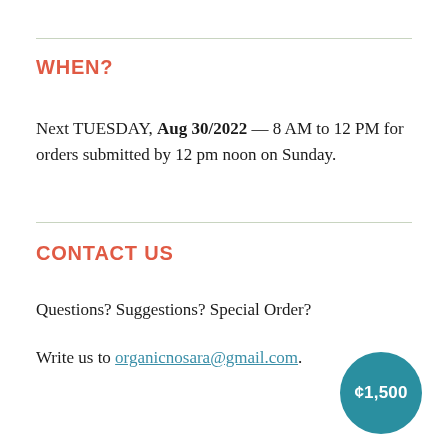WHEN?
Next TUESDAY, Aug 30/2022 — 8 AM to 12 PM for orders submitted by 12 pm noon on Sunday.
CONTACT US
Questions? Suggestions? Special Order?
Write us to organicnosara@gmail.com.
¢1,500